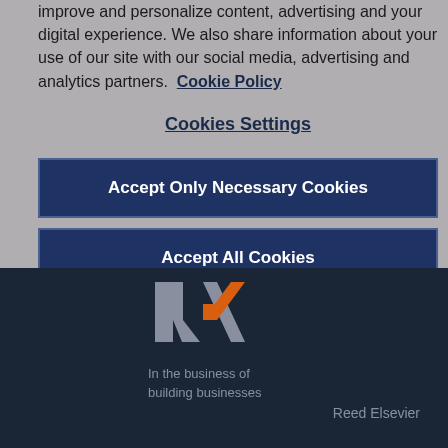improve and personalize content, advertising and your digital experience. We also share information about your use of our site with our social media, advertising and analytics partners. Cookie Policy
Cookies Settings
Accept Only Necessary Cookies
Accept All Cookies
[Figure (logo): RX logo — stylized R and X letters in grey and orange]
In the business of building businesses
Reed Elsevier